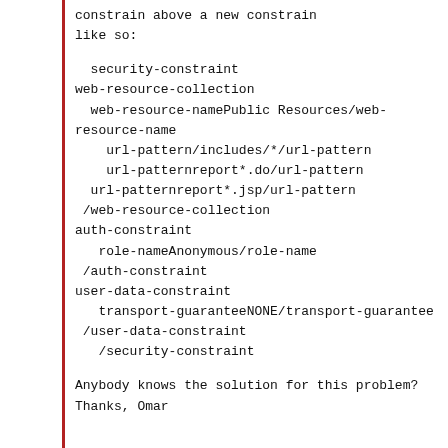constrain above a new constrain like so:
security-constraint
web-resource-collection
  web-resource-namePublic Resources/web-resource-name
    url-pattern/includes/*/url-pattern
    url-patternreport*.do/url-pattern
  url-patternreport*.jsp/url-pattern
 /web-resource-collection
auth-constraint
   role-nameAnonymous/role-name
 /auth-constraint
user-data-constraint
   transport-guaranteeNONE/transport-guarantee
 /user-data-constraint
   /security-constraint
Anybody knows the solution for this problem?
Thanks,
Omar